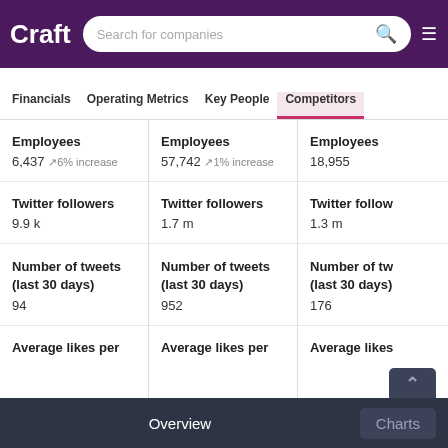Craft — Search for companies
Financials | Operating Metrics | Key People | Competitors
| Metric | Column 1 | Column 2 | Column 3 |
| --- | --- | --- | --- |
| Employees | 6,437 ~6% increase | 57,742 ~1% increase | 18,955 |
| Twitter followers | 9.9 k | 1.7 m | 1.3 m |
| Number of tweets (last 30 days) | 94 | 952 | 176 |
| Average likes per |  |  |  |
Overview    Charts